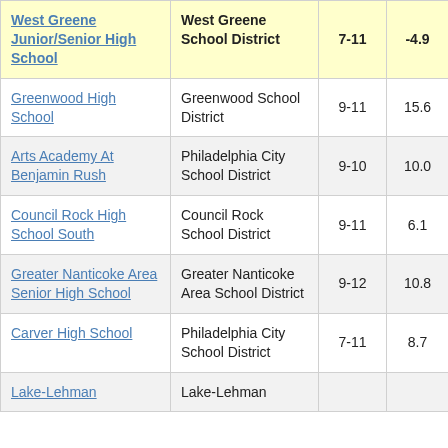| School | District | Grades | Value |  |
| --- | --- | --- | --- | --- |
| West Greene Junior/Senior High School | West Greene School District | 7-11 | -4.9 |  |
| Greenwood High School | Greenwood School District | 9-11 | 15.6 |  |
| Arts Academy At Benjamin Rush | Philadelphia City School District | 9-10 | 10.0 |  |
| Council Rock High School South | Council Rock School District | 9-11 | 6.1 |  |
| Greater Nanticoke Area Senior High School | Greater Nanticoke Area School District | 9-12 | 10.8 |  |
| Carver High School | Philadelphia City School District | 7-11 | 8.7 |  |
| Lake-Lehman | Lake-Lehman |  |  |  |